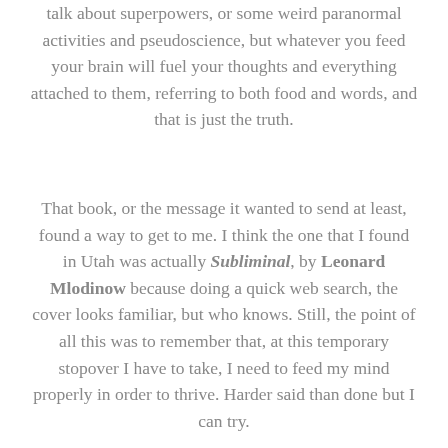talk about superpowers, or some weird paranormal activities and pseudoscience, but whatever you feed your brain will fuel your thoughts and everything attached to them, referring to both food and words, and that is just the truth.
That book, or the message it wanted to send at least, found a way to get to me. I think the one that I found in Utah was actually Subliminal, by Leonard Mlodinow because doing a quick web search, the cover looks familiar, but who knows. Still, the point of all this was to remember that, at this temporary stopover I have to take, I need to feed my mind properly in order to thrive. Harder said than done but I can try.